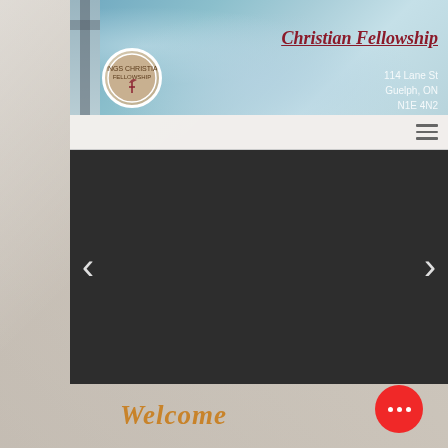[Figure (screenshot): Website screenshot of Christian Fellowship church page showing header with logo, address, navigation bar, dark slideshow area with left/right arrows, and Welcome text below]
Christian Fellowship
114 Lane St
Guelph, ON
N1E 4N2
Welcome